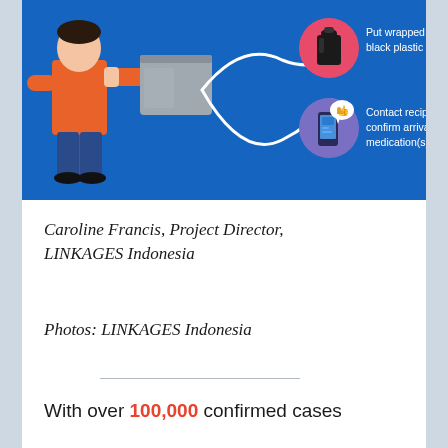[Figure (infographic): Infographic on blue background showing a delivery person in orange jacket handing a gray box, with two steps illustrated: 1) Put wrapped box in black plastic bag (with icon of black bag), 2) Contact recipient to confirm arrival of medication(s) (with icon of smartphone with thumbs up). Connected by a white curved line.]
Caroline Francis, Project Director, LINKAGES Indonesia
Photos: LINKAGES Indonesia
With over 100,000 confirmed cases